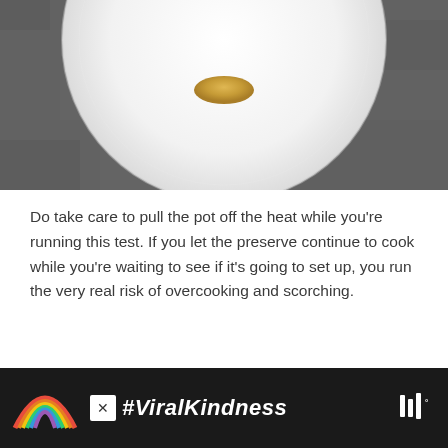[Figure (photo): Top-down view of a white ceramic plate with a small amount of golden/amber jam or preserve in the center, on a dark gray stone or concrete surface. Part of a food blog page showing the plate test for jam setting.]
Do take care to pull the pot off the heat while you're running this test. If you let the preserve continue to cook while you're waiting to see if it's going to set up, you run the very real risk of overcooking and scorching.
Sharing is caring!
[Figure (other): Advertisement banner with dark background featuring a rainbow illustration and #ViralKindness text with TuneIn logo]